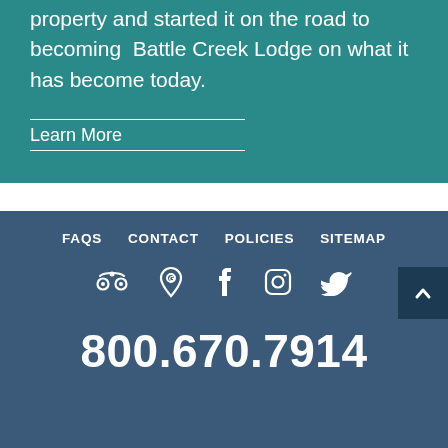property and started it on the road to becoming  Battle Creek Lodge on what it has become today.
Learn More
FAQS   CONTACT   POLICIES   SITEMAP
[Figure (other): Social media icons: TripAdvisor, Google Maps, Facebook, Instagram, Twitter]
800.670.7914